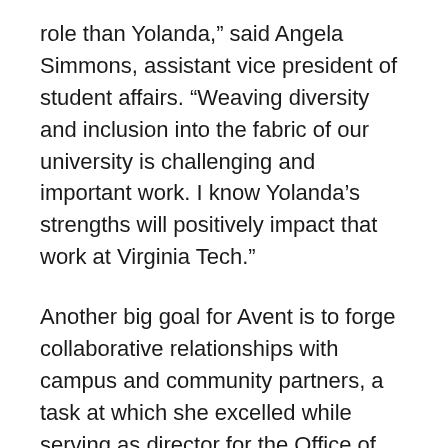role than Yolanda," said Angela Simmons, assistant vice president of student affairs. “Weaving diversity and inclusion into the fabric of our university is challenging and important work. I know Yolanda’s strengths will positively impact that work at Virginia Tech.”
Another big goal for Avent is to forge collaborative relationships with campus and community partners, a task at which she excelled while serving as director for the Office of Multicultural Student Affairs at Virginia Commonwealth University. Examples